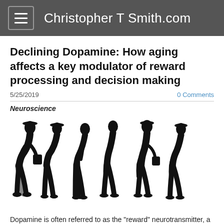Christopher T Smith.com
Declining Dopamine: How aging affects a key modulator of reward processing and decision making
5/25/2019
0 Comments
Neuroscience
[Figure (illustration): Six black silhouettes of elderly people hunched over, walking with canes, arranged in a row from left to right showing various postures of aging.]
Dopamine is often referred to as the "reward" neurotransmitter, a